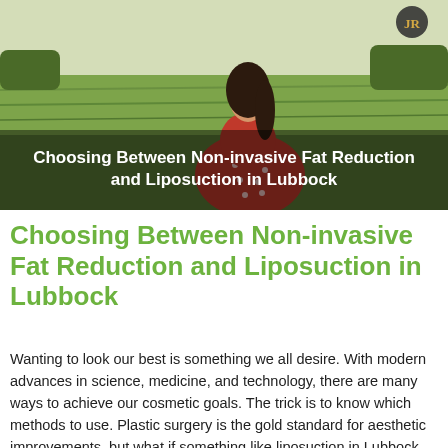[Figure (photo): A woman in a red polka-dot dress standing in a green field, with the title 'Choosing Between Non-invasive Fat Reduction and Liposuction in Lubbock' overlaid in white bold text at the bottom of the image. A small circular logo with 'JR' initials appears in the top-right corner.]
Choosing Between Non-invasive Fat Reduction and Liposuction in Lubbock
Wanting to look our best is something we all desire. With modern advances in science, medicine, and technology, there are many ways to achieve our cosmetic goals. The trick is to know which methods to use. Plastic surgery is the gold standard for aesthetic improvements, but what if something like liposuction in Lubbock isn't right for you? Rowley Plastic Surgery offers many different surgical and